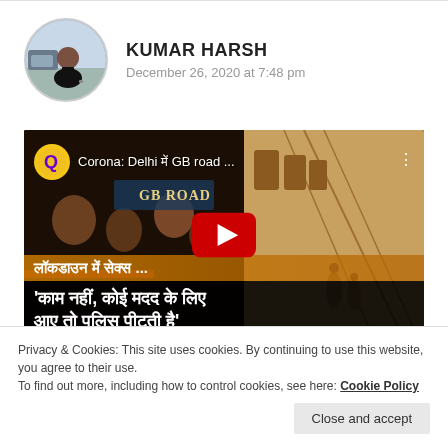KUMAR HARSH
December 26, 2020 at 7:48 pm
[Figure (screenshot): YouTube video thumbnail showing a Quint video about Corona: Delhi GB road, with Hindi text about lockdown and sex workers]
Privacy & Cookies: This site uses cookies. By continuing to use this website, you agree to their use.
To find out more, including how to control cookies, see here: Cookie Policy
Close and accept